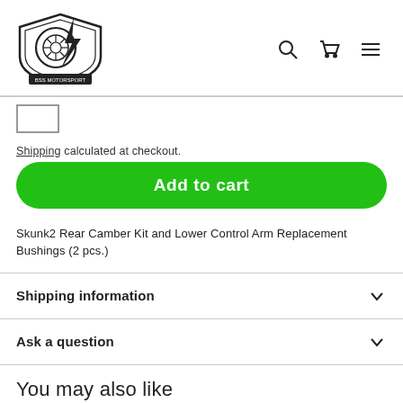[Figure (logo): BSS Motorsport shield logo with tire and lightning bolt]
Shipping calculated at checkout.
Add to cart
Skunk2 Rear Camber Kit and Lower Control Arm Replacement Bushings (2 pcs.)
Shipping information
Ask a question
You may also like